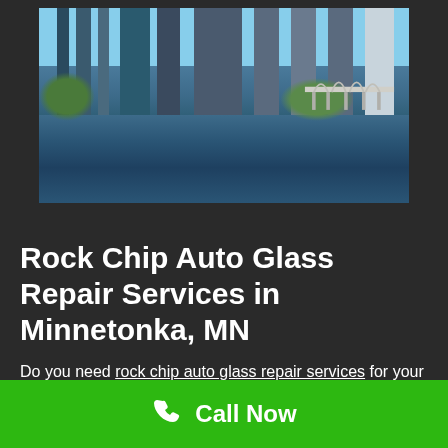[Figure (photo): Aerial cityscape photo of Minneapolis/Minnetonka showing buildings, a bridge with arches, river reflections, and green trees along the waterfront]
Rock Chip Auto Glass Repair Services in Minnetonka, MN
Do you need rock chip auto glass repair services for your vehicle in Minnetonka?
When driving around Minnetonka, rocks and other debris can create chips in your windshield.
Call Now